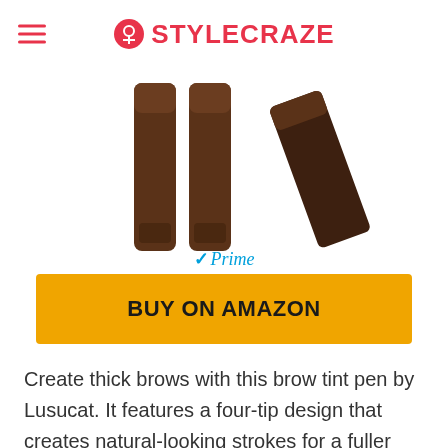STYLECRAZE
[Figure (photo): Product photo showing brown brow tint pen sticks from Lusucat, multiple angles]
Prime
BUY ON AMAZON
Create thick brows with this brow tint pen by Lusucat. It features a four-tip design that creates natural-looking strokes for a fuller look. It goes on smoothly and delivers rich pigmentation to match your brow color. The formula is sweat-proof, waterproof, smudge-proof, and does not fade for up to 24 hours. It is available in shades of auburn,